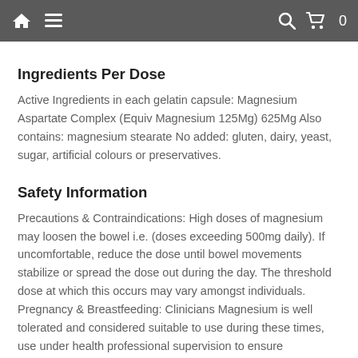Navigation bar with home, menu, search, and cart icons
Ingredients Per Dose
Active Ingredients in each gelatin capsule: Magnesium Aspartate Complex (Equiv Magnesium 125Mg) 625Mg Also contains: magnesium stearate No added: gluten, dairy, yeast, sugar, artificial colours or preservatives.
Safety Information
Precautions & Contraindications: High doses of magnesium may loosen the bowel i.e. (doses exceeding 500mg daily). If uncomfortable, reduce the dose until bowel movements stabilize or spread the dose out during the day. The threshold dose at which this occurs may vary amongst individuals. Pregnancy & Breastfeeding: Clinicians Magnesium is well tolerated and considered suitable to use during these times, use under health professional supervision to ensure appropriate dosing. Side effects: Generally considered well tolerated at the recommended amount. In some individuals,